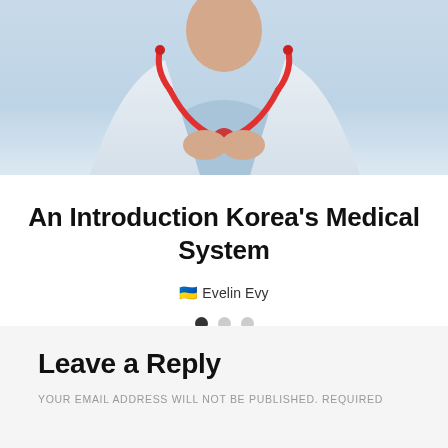[Figure (photo): Doctor in white coat holding a red stethoscope, cropped to show torso and hands, light blue background]
An Introduction Korea's Medical System
🇺🇦 Evelin Evy
Leave a Reply
YOUR EMAIL ADDRESS WILL NOT BE PUBLISHED. REQUIRED